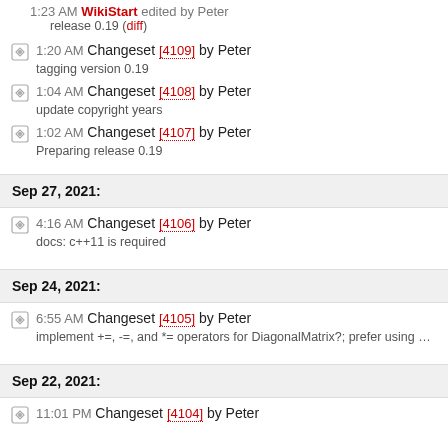1:23 AM WikiStart edited by Peter
release 0.19 (diff)
1:20 AM Changeset [4109] by Peter
tagging version 0.19
1:04 AM Changeset [4108] by Peter
update copyright years
1:02 AM Changeset [4107] by Peter
Preparing release 0.19
Sep 27, 2021:
4:16 AM Changeset [4106] by Peter
docs: c++11 is required
Sep 24, 2021:
6:55 AM Changeset [4105] by Peter
implement +=, -=, and *= operators for DiagonalMatrix?; prefer using …
Sep 22, 2021:
11:01 PM Changeset [4104] by Peter